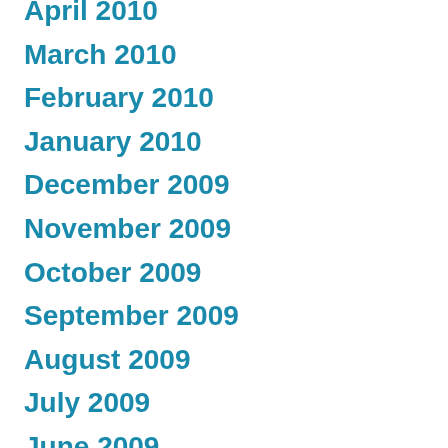April 2010
March 2010
February 2010
January 2010
December 2009
November 2009
October 2009
September 2009
August 2009
July 2009
June 2009
May 2009